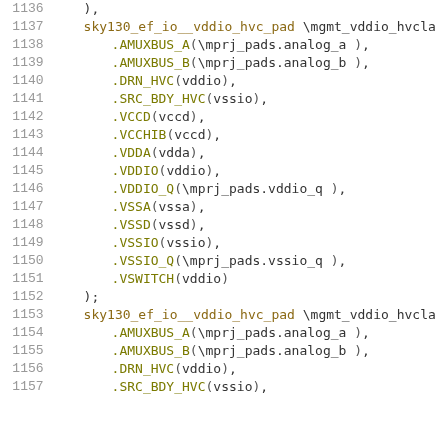1136    );
1137    sky130_ef_io__vddio_hvc_pad \mgmt_vddio_hvcla
1138        .AMUXBUS_A(\mprj_pads.analog_a ),
1139        .AMUXBUS_B(\mprj_pads.analog_b ),
1140        .DRN_HVC(vddio),
1141        .SRC_BDY_HVC(vssio),
1142        .VCCD(vccd),
1143        .VCCHIB(vccd),
1144        .VDDA(vdda),
1145        .VDDIO(vddio),
1146        .VDDIO_Q(\mprj_pads.vddio_q ),
1147        .VSSA(vssa),
1148        .VSSD(vssd),
1149        .VSSIO(vssio),
1150        .VSSIO_Q(\mprj_pads.vssio_q ),
1151        .VSWITCH(vddio)
1152    );
1153    sky130_ef_io__vddio_hvc_pad \mgmt_vddio_hvcla
1154        .AMUXBUS_A(\mprj_pads.analog_a ),
1155        .AMUXBUS_B(\mprj_pads.analog_b ),
1156        .DRN_HVC(vddio),
1157        .SRC_BDY_HVC(vssio),